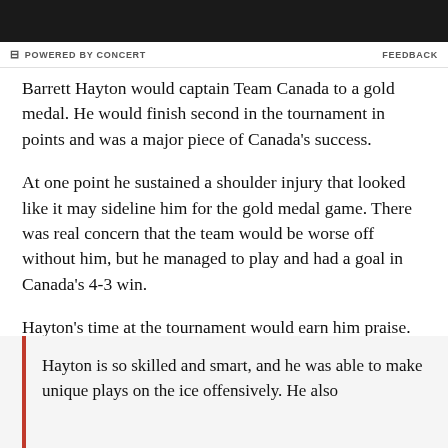[Figure (photo): Dark/black image strip at the top of the page]
POWERED BY CONCERT   FEEDBACK
Barrett Hayton would captain Team Canada to a gold medal. He would finish second in the tournament in points and was a major piece of Canada’s success.
At one point he sustained a shoulder injury that looked like it may sideline him for the gold medal game. There was real concern that the team would be worse off without him, but he managed to play and had a goal in Canada’s 4-3 win.
Hayton’s time at the tournament would earn him praise. Corey Pronman for The Athletic wrote:
Hayton is so skilled and smart, and he was able to make unique plays on the ice offensively. He also